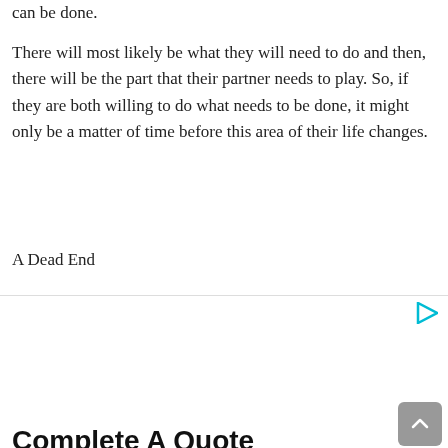can be done.
There will most likely be what they will need to do and then, there will be the part that their partner needs to play. So, if they are both willing to do what needs to be done, it might only be a matter of time before this area of their life changes.
A Dead End
[Figure (other): Advertisement area with a cyan play/forward icon in the top-right corner]
Complete A Quote